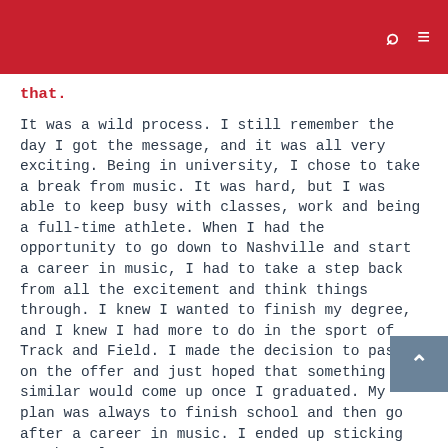that.
It was a wild process. I still remember the day I got the message, and it was all very exciting. Being in university, I chose to take a break from music. It was hard, but I was able to keep busy with classes, work and being a full-time athlete. When I had the opportunity to go down to Nashville and start a career in music, I had to take a step back from all the excitement and think things through. I knew I wanted to finish my degree, and I knew I had more to do in the sport of Track and Field. I made the decision to pass on the offer and just hoped that something similar would come up once I graduated. My plan was always to finish school and then go after a career in music. I ended up sticking to that plan!
Your debut single “Red” came out October 2020, and the reception has been super awesome. Tell us a bit about the song, and what it means to you?
I am so happy to finally have my own music out into the world. It’s